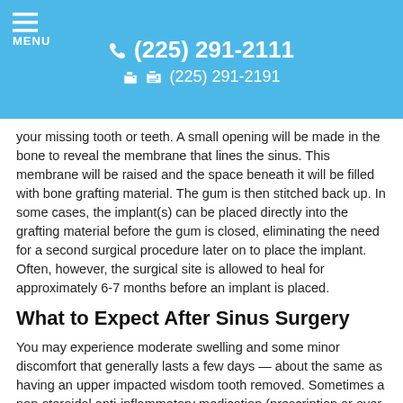MENU  (225) 291-2111  (225) 291-2191
your missing tooth or teeth. A small opening will be made in the bone to reveal the membrane that lines the sinus. This membrane will be raised and the space beneath it will be filled with bone grafting material. The gum is then stitched back up. In some cases, the implant(s) can be placed directly into the grafting material before the gum is closed, eliminating the need for a second surgical procedure later on to place the implant. Often, however, the surgical site is allowed to heal for approximately 6-7 months before an implant is placed.
What to Expect After Sinus Surgery
You may experience moderate swelling and some minor discomfort that generally lasts a few days — about the same as having an upper impacted wisdom tooth removed. Sometimes a non-steroidal anti-inflammatory medication (prescription or over-the-counter) is recommended to help minimize this. A course of antibiotics may be prescribed to prevent infection. If the sinus membrane beco... ng to a